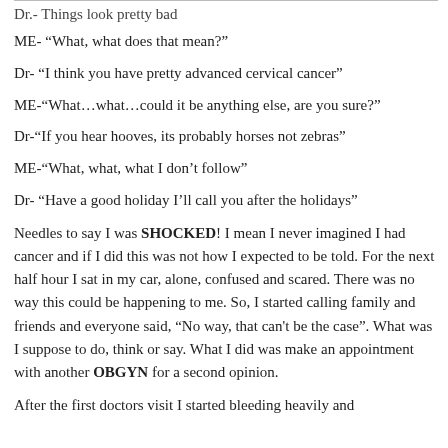Dr.- Things look pretty bad
ME- “What, what does that mean?”
Dr- “I think you have pretty advanced cervical cancer”
ME-“What…what…could it be anything else, are you sure?”
Dr-“If you hear hooves, its probably horses not zebras”
ME-“What, what, what I don’t follow”
Dr- “Have a good holiday I’ll call you after the holidays”
Needles to say I was SHOCKED! I mean I never imagined I had cancer and if I did this was not how I expected to be told. For the next half hour I sat in my car, alone, confused and scared. There was no way this could be happening to me. So, I started calling family and friends and everyone said, “No way, that can’t be the case”. What was I suppose to do, think or say. What I did was make an appointment with another OBGYN for a second opinion.
After the first doctors visit I started bleeding heavily and